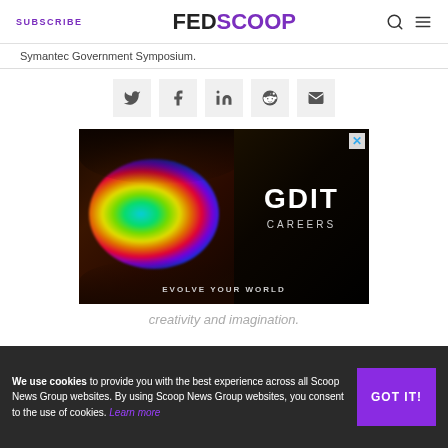SUBSCRIBE | FEDSCOOP
Symantec Government Symposium.
[Figure (infographic): Social sharing buttons: Twitter, Facebook, LinkedIn, Reddit, Email]
[Figure (infographic): GDIT Careers advertisement with rainbow eye image. Text: GDIT CAREERS EVOLVE YOUR WORLD]
We use cookies to provide you with the best experience across all Scoop News Group websites. By using Scoop News Group websites, you consent to the use of cookies. Learn more
GOT IT!